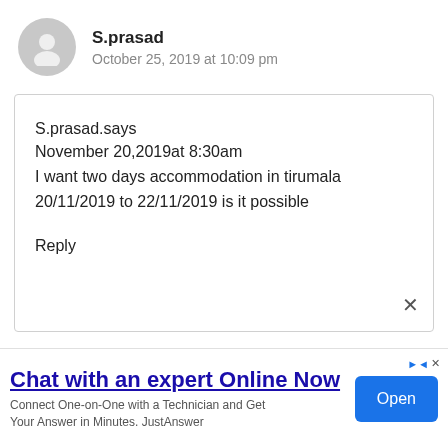S.prasad
October 25, 2019 at 10:09 pm
S.prasad.says
November 20,2019at 8:30am
I want two days accommodation in tirumala
20/11/2019 to 22/11/2019 is it possible

Reply
[Figure (screenshot): Advertisement banner: Chat with an expert Online Now - Connect One-on-One with a Technician and Get Your Answer in Minutes. JustAnswer. Open button.]